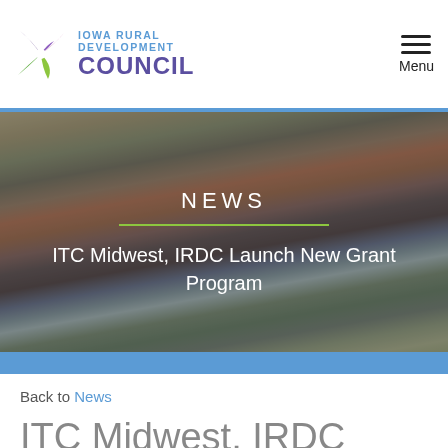[Figure (logo): Iowa Rural Development Council logo with pinwheel icon and text]
[Figure (photo): Group of people standing outside a house; news article hero banner with text overlay showing NEWS heading and article title ITC Midwest, IRDC Launch New Grant Program]
Back to News
ITC Midwest, IRDC Launch New Grant